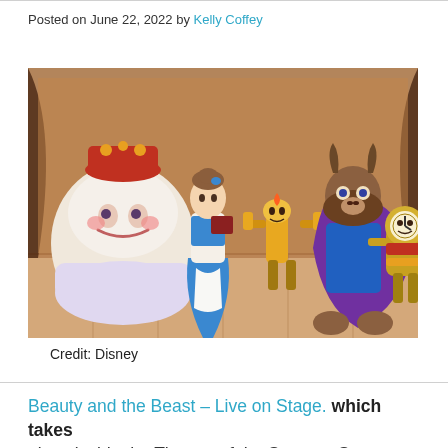Posted on June 22, 2022 by Kelly Coffey
[Figure (photo): Beauty and the Beast Live on Stage theatrical performance at Disney's Hollywood Studios showing costumed characters including Mrs. Potts, Belle, Lumiere, the Beast, and Cogsworth on a decorated stage set.]
Credit: Disney
Beauty and the Beast – Live on Stage. which takes place inside the Theater of the Stars on Sunset Boulevard in Disney's Hollywood Studios, is a fan-